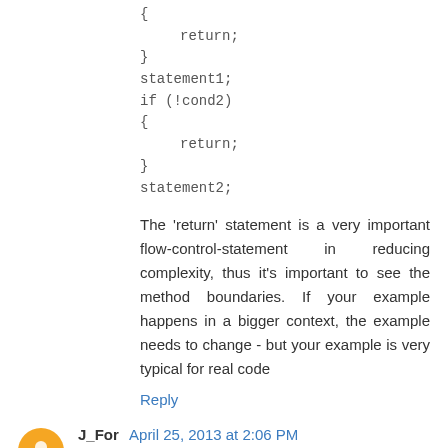{
    return;
}
statement1;
if (!cond2)
{
    return;
}
statement2;
The 'return' statement is a very important flow-control-statement in reducing complexity, thus it's important to see the method boundaries. If your example happens in a bigger context, the example needs to change - but your example is very typical for real code
Reply
J_For April 25, 2013 at 2:06 PM
Is there a style guide for this kind of unnesting? You've got me intrigued now...